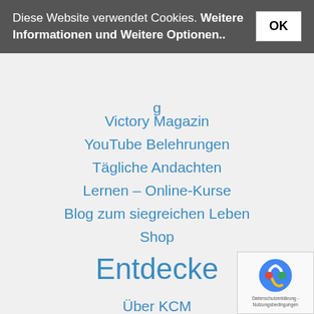Diese Website verwendet Cookies. Weitere Informationen und Weitere Optionen..
Victory Magazin
YouTube Belehrungen
Tägliche Andachten
Lernen – Online-Kurse
Blog zum siegreichen Leben
Shop
Entdecke
Über KCM
Partnerschaft
Zeugnisse
Partnergemeinde
Newsletter-Anmeldung